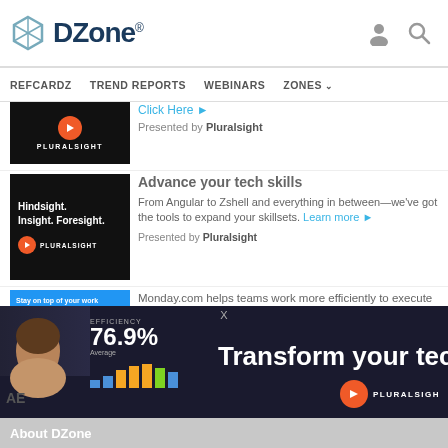DZone — REFCARDZ TREND REPORTS WEBINARS ZONES
[Figure (screenshot): Pluralsight logo on black background — partial ad thumbnail]
Presented by Pluralsight
Advance your tech skills
From Angular to Zshell and everything in between—we've got the tools to expand your skillsets. Learn more ►
Presented by Pluralsight
[Figure (screenshot): Hindsight. Insight. Foresight. Pluralsight ad on black background]
[Figure (screenshot): Monday.com app screenshot on blue background — Stay on top of your work anytime, anywhere.]
Monday.com helps teams work more efficiently to execute projects that deliver results on time. Try for Free ►
Presented by Monday.com
[Figure (screenshot): Pluralsight banner ad — Transform your techno… with efficiency 76.9% average bar chart and woman's face]
About DZone